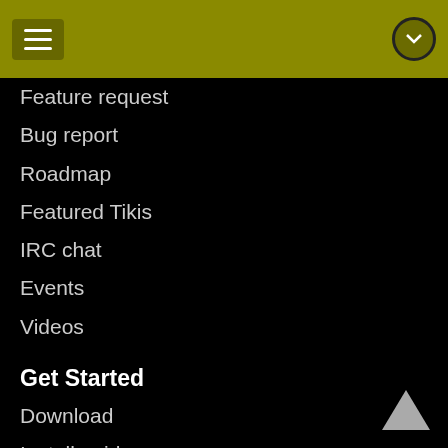Navigation menu header with hamburger icon and expand icon
Feature request
Bug report
Roadmap
Featured Tikis
IRC chat
Events
Videos
Get Started
Download
Install guide
Configure
Documentation
Basics
Installation guide
Configuration
Features